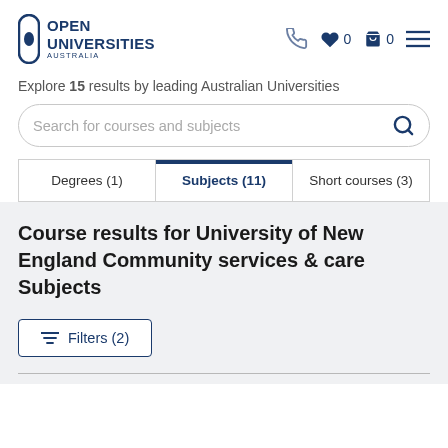[Figure (logo): Open Universities Australia logo with pill-shaped icon and text]
Explore 15 results by leading Australian Universities
Search for courses and subjects
| Degrees (1) | Subjects (11) | Short courses (3) |
| --- | --- | --- |
Course results for University of New England Community services & care Subjects
Filters (2)